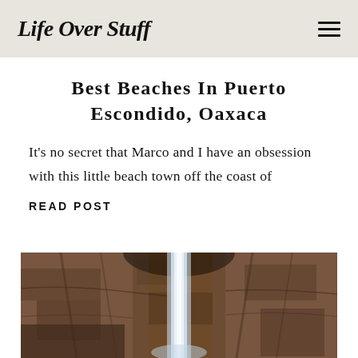Life Over Stuff
Best Beaches In Puerto Escondido, Oaxaca
It's no secret that Marco and I have an obsession with this little beach town off the coast of
READ POST
[Figure (photo): A waterfall flowing down a rocky canyon cliff face, with warm brown and rust-colored rock walls and a slender white cascade of water in the center.]